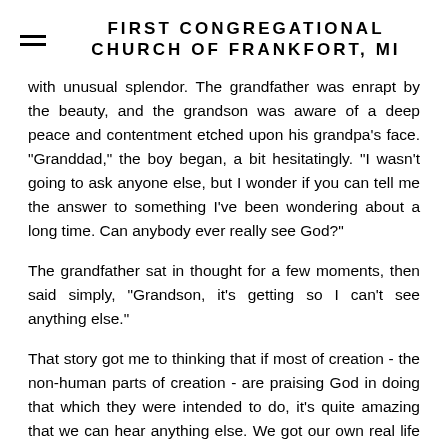FIRST CONGREGATIONAL CHURCH OF FRANKFORT, MI
with unusual splendor. The grandfather was enrapt by the beauty, and the grandson was aware of a deep peace and contentment etched upon his grandpa's face. "Granddad," the boy began, a bit hesitatingly. "I wasn't going to ask anyone else, but I wonder if you can tell me the answer to something I've been wondering about a long time. Can anybody ever really see God?"
The grandfather sat in thought for a few moments, then said simply, "Grandson, it's getting so I can't see anything else."
That story got me to thinking that if most of creation - the non-human parts of creation - are praising God in doing that which they were intended to do, it's quite amazing that we can hear anything else. We got our own real life version of that just a couple weeks ago, when the wind was roaring across the big lake. We can also catch the praise of things that go creepy crawly on the ground in the early spring or later fall,